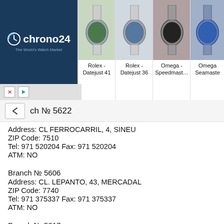[Figure (screenshot): Chrono24 advertisement banner showing the Chrono24 logo (The World's Watch Market) on dark blue background, with watch product images: Rolex Datejust 41, Rolex Datejust 36, Omega Speedmaster, Omega Seamaster]
Branch № 5622
Address: CL FERROCARRIL, 4, SINEU
ZIP Code: 7510
Tel: 971 520204 Fax: 971 520204
ATM: NO
Branch № 5606
Address: CL. LEPANTO, 43, MERCADAL
ZIP Code: 7740
Tel: 971 375337 Fax: 971 375337
ATM: NO
Branch № 5617
Address: PZ DEL PROGRESO ESQ. CERVANTES, PALMA
ZIP Code: 7013
Tel: 971 222227 Fax: 971 222227